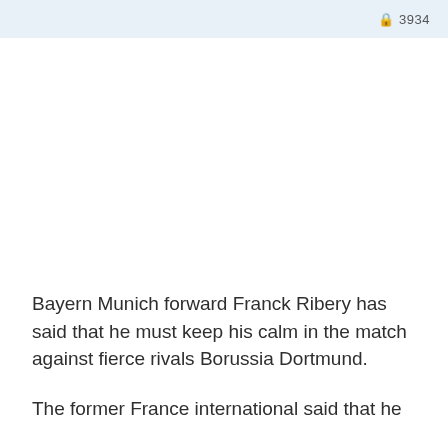🔒 3934
Bayern Munich forward Franck Ribery has said that he must keep his calm in the match against fierce rivals Borussia Dortmund.
The former France international said that he